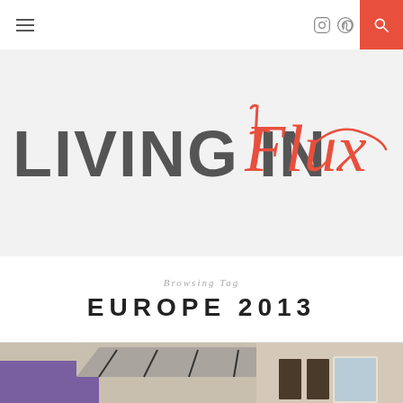Navigation bar with hamburger menu, Instagram icon, Pinterest icon, and search button
LIVING IN Flux
Browsing Tag
EUROPE 2013
[Figure (photo): Street scene photo showing colorful building facades with shuttered windows and a canopy, partially visible at bottom of page]